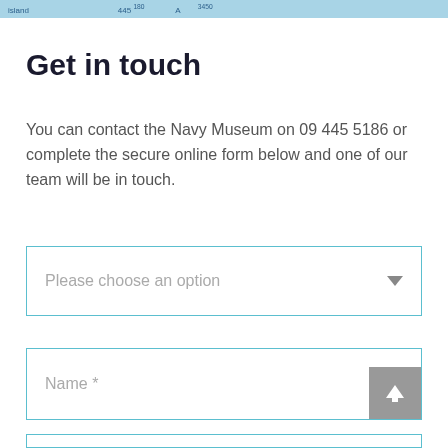island ... 445 180 ... A ... 3450
Get in touch
You can contact the Navy Museum on 09 445 5186 or complete the secure online form below and one of our team will be in touch.
[Figure (screenshot): Dropdown select box with placeholder text 'Please choose an option' and a downward arrow icon]
[Figure (screenshot): Text input field with placeholder text 'Name *' and a grey scroll-to-top button with upward arrow in bottom-right corner]
[Figure (screenshot): Partial text input field visible at bottom of page]